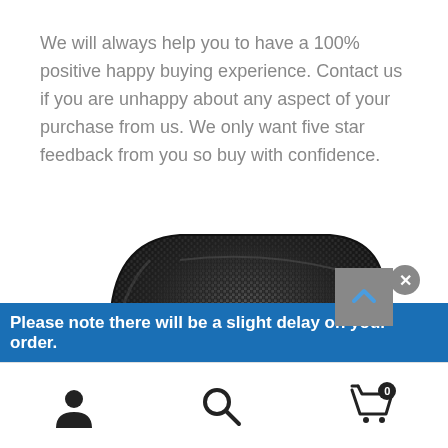We will always help you to have a 100% positive happy buying experience. Contact us if you are unhappy about any aspect of your purchase from us. We only want five star feedback from you so buy with confidence.
[Figure (photo): Close-up photo of a black carbon fiber product surface]
Please note there will be a slight delay on your order.